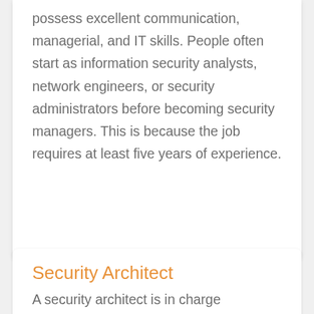possess excellent communication, managerial, and IT skills. People often start as information security analysts, network engineers, or security administrators before becoming security managers. This is because the job requires at least five years of experience.
Security Architect
A security architect is in charge